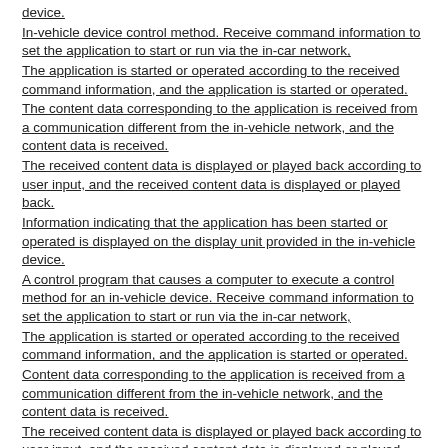device.
In-vehicle device control method. Receive command information to set the application to start or run via the in-car network,
The application is started or operated according to the received command information, and the application is started or operated.
The content data corresponding to the application is received from a communication different from the in-vehicle network, and the content data is received.
The received content data is displayed or played back according to user input, and the received content data is displayed or played back.
Information indicating that the application has been started or operated is displayed on the display unit provided in the in-vehicle device.
A control program that causes a computer to execute a control method for an in-vehicle device. Receive command information to set the application to start or run via the in-car network,
The application is started or operated according to the received command information, and the application is started or operated.
Content data corresponding to the application is received from a communication different from the in-vehicle network, and the content data is received.
The received content data is displayed or played back according to user input, and the received content data is displayed or played back.